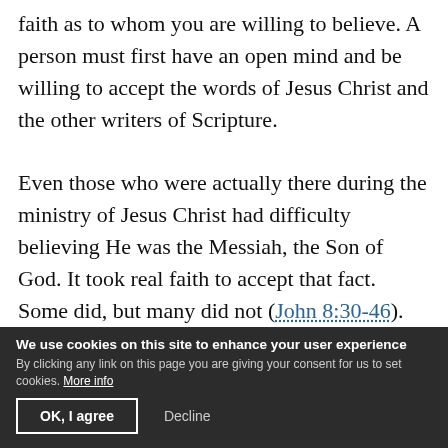faith as to whom you are willing to believe. A person must first have an open mind and be willing to accept the words of Jesus Christ and the other writers of Scripture.

Even those who were actually there during the ministry of Jesus Christ had difficulty believing He was the Messiah, the Son of God. It took real faith to accept that fact. Some did, but many did not (John 8:30-46). Christ said: "He who is of God hears God's words; therefore you do not hear, because you are not of God" (John 8:47). But those who belong to God will believe the words of His Son and follow Him.
We use cookies on this site to enhance your user experience
By clicking any link on this page you are giving your consent for us to set cookies. More info
OK, I agree   Decline